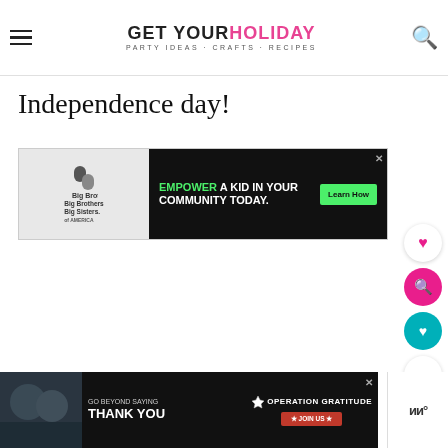GET YOUR HOLIDAY on — PARTY IDEAS · CRAFTS · RECIPES
Independence day!
[Figure (infographic): Big Brothers Big Sisters advertisement banner: 'EMPOWER A KID IN YOUR COMMUNITY TODAY.' with a Learn How button]
[Figure (infographic): Bottom banner ad: 'GO BEYOND SAYING THANK YOU' — Operation Gratitude JOIN US]
[Figure (other): Right-side widget with bottom right logo mark]